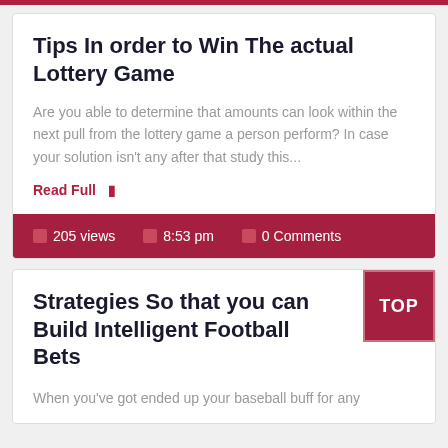Tips In order to Win The actual Lottery Game
Are you able to determine that amounts can look within the next pull from the lottery game a person perform? In case your solution isn't any after that study this...
Read Full ▸
205 views   8:53 pm   0 Comments
Strategies So that you can Build Intelligent Football Bets
When you've got ended up your baseball buff for any